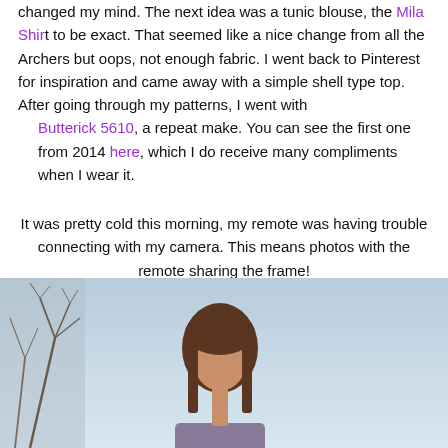changed my mind.  The next idea was a tunic blouse, the Mila Shirt to be exact.  That seemed like a nice change from all the Archers but oops, not enough fabric.  I went back to Pinterest for inspiration and came away with a simple shell type top. After going through my patterns, I went with
    Butterick 5610, a repeat make.  You can see the first one from 2014 here, which I do receive many compliments when I wear it.
It was pretty cold this morning, my remote was having trouble connecting with my camera. This means photos with the remote sharing the frame!
This top was easy to make, I spent extra time marking the pleats and keeping the pleats very straight.  I wasn't sold on the elastic at the bottom of the top and decided not to put it in.  That was a big mistake, it looked just like a maternity top!
[Figure (photo): Outdoor photo of a woman with brown hair wearing a top, standing outside near bare trees in cold weather. Remote control is visible sharing the frame.]